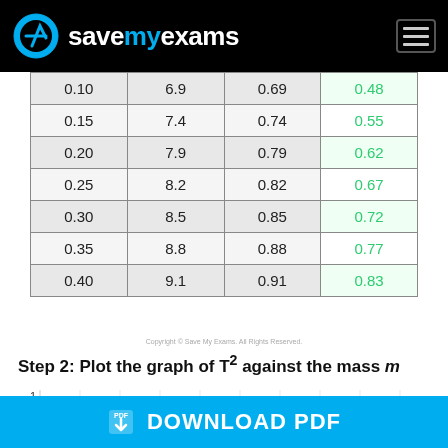Save My Exams
| 0.10 | 6.9 | 0.69 | 0.48 |
| 0.15 | 7.4 | 0.74 | 0.55 |
| 0.20 | 7.9 | 0.79 | 0.62 |
| 0.25 | 8.2 | 0.82 | 0.67 |
| 0.30 | 8.5 | 0.85 | 0.72 |
| 0.35 | 8.8 | 0.88 | 0.77 |
| 0.40 | 9.1 | 0.91 | 0.83 |
Copyright © Save My Exams. All Rights Reserved.
Step 2: Plot the graph of T² against the mass m
[Figure (continuous-plot): Partial graph of T² against mass m, showing y-axis label of 1 and partial x-axis gridlines]
DOWNLOAD PDF